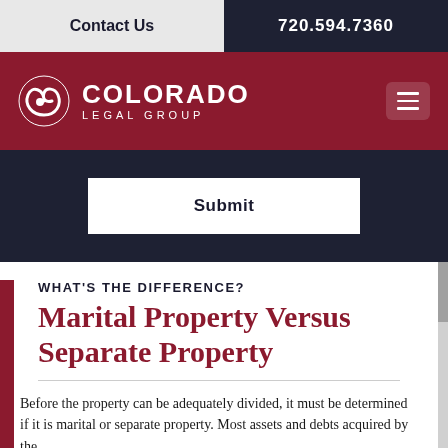Contact Us | 720.594.7360
[Figure (logo): Colorado Legal Group logo with spiral icon and text]
Submit
WHAT'S THE DIFFERENCE?
Marital Property Versus Separate Property
Before the property can be adequately divided, it must be determined if it is marital or separate property. Most assets and debts acquired by the couple during the marriage are considered marital